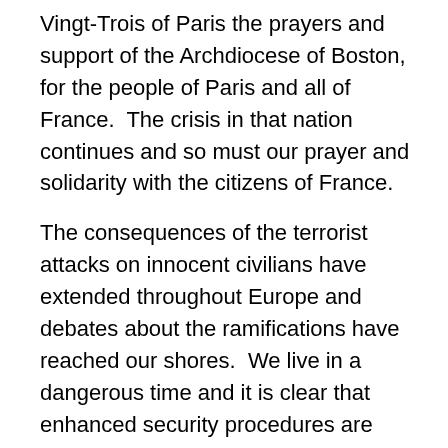Vingt-Trois of Paris the prayers and support of the Archdiocese of Boston, for the people of Paris and all of France.  The crisis in that nation continues and so must our prayer and solidarity with the citizens of France.
The consequences of the terrorist attacks on innocent civilians have extended throughout Europe and debates about the ramifications have reached our shores.  We live in a dangerous time and it is clear that enhanced security procedures are needed, to make every effort to ensure public safety and good order.  While that need is evident and widely recognized, decisions concerning the specific measures taken require careful deliberation.